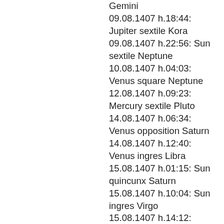Gemini
09.08.1407 h.18:44: Jupiter sextile Kora
09.08.1407 h.22:56: Sun sextile Neptune
10.08.1407 h.04:03: Venus square Neptune
12.08.1407 h.09:23: Mercury sextile Pluto
14.08.1407 h.06:34: Venus opposition Saturn
14.08.1407 h.12:40: Venus ingres Libra
15.08.1407 h.01:15: Sun quincunx Saturn
15.08.1407 h.10:04: Sun ingres Virgo
15.08.1407 h.14:12: Mercury quincunx Uranus
15.08.1407 h.16:54: Mars sextile Kora
16.08.1407 h.10:36: Mercury trine Ceres
17.08.1407 h.04:02: Mars conjunction Jupiter